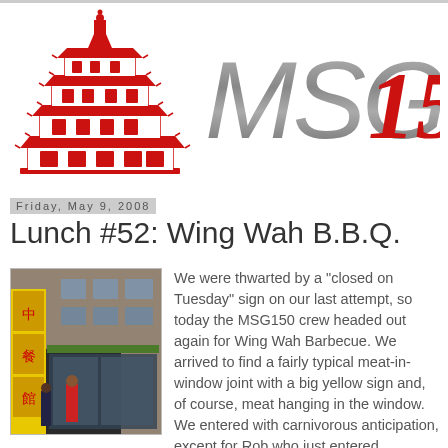[Figure (logo): MSG150 logo with a red Chinese pagoda on the left and stylized text 'MSG' in metallic grey and '150' in red on the right]
Friday, May 9, 2008
Lunch #52: Wing Wah B.B.Q.
[Figure (photo): Street-level photo of Wing Wah BBQ restaurant storefront with yellow signage and people on the sidewalk]
We were thwarted by a "closed on Tuesday" sign on our last attempt, so today the MSG150 crew headed out again for Wing Wah Barbecue. We arrived to find a fairly typical meat-in-window joint with a big yellow sign and, of course, meat hanging in the window. We entered with carnivorous anticipation, except for Rob who just entered.